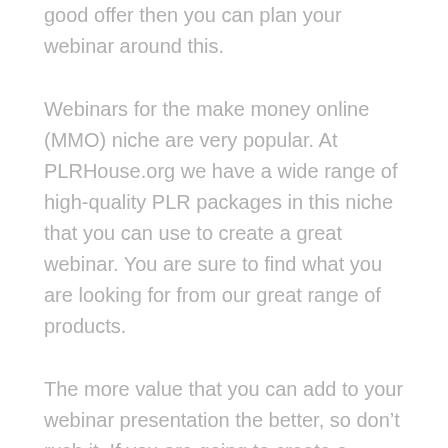good offer then you can plan your webinar around this.
Webinars for the make money online (MMO) niche are very popular. At PLRHouse.org we have a wide range of high-quality PLR packages in this niche that you can use to create a great webinar. You are sure to find what you are looking for from our great range of products.
The more value that you can add to your webinar presentation the better, so don’t rush it. If you are going to create a webinar presentation in the MMO niche then it is always a good idea to add case studies and other social proof that backs up what you are discussing.
So, create a plan for your webinar presentation and include everything that you will need to make it the best.